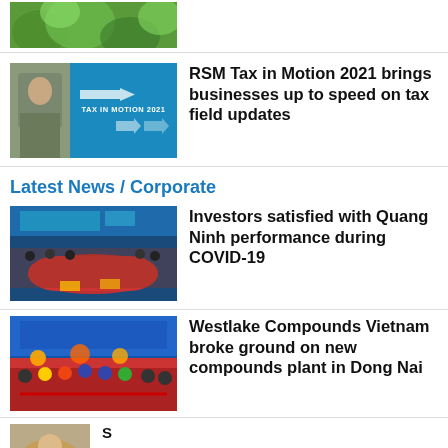[Figure (photo): Green plants/leaves photo strip at top]
[Figure (photo): RSM Tax in Motion 2021 promotional image with person and blue arrows graphic]
RSM Tax in Motion 2021 brings businesses up to speed on tax field updates
Latest News / Corporate
[Figure (photo): Conference room with long table and delegates for Quang Ninh investor meeting]
Investors satisfied with Quang Ninh performance during COVID-19
[Figure (photo): Groundbreaking ceremony for Westlake Compounds Vietnam in Dong Nai]
Westlake Compounds Vietnam broke ground on new compounds plant in Dong Nai
[Figure (photo): Partial image of another news article at bottom]